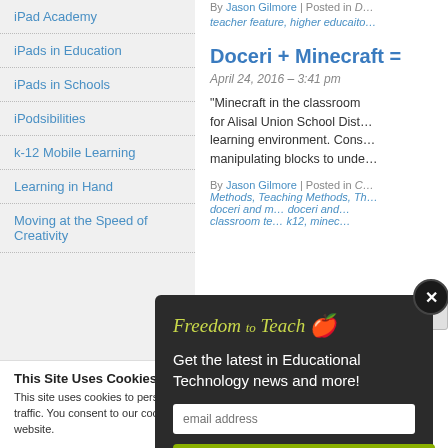iPad Academy
iPads in Education
iPads in Schools
iPodsibilities
k-12 Mobile Learning
Learning in Hand
Moving at the Speed of Creativity
By Jason Gilmore | Posted in D... teacher feature, higher educaito...
Doceri + Minecraft =
April 24, 2016 – 3:41 pm
“Minecraft in the classroom for Alisal Union School Dist... learning environment. Cons... manipulating blocks to unde...
By Jason Gilmore | Posted in C... Methods, Teaching Methods, Th... doceri and m... doceri and... classroom te... k12, minec...
[Figure (screenshot): Freedom to Teach newsletter popup with email signup form and SIGN ME UP! button]
This Site Uses Cookies
This site uses cookies to personal... traffic. You consent to our cooki... website.